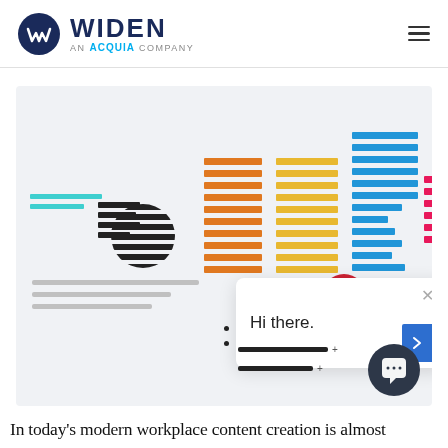[Figure (logo): Widen, an Acquia Company logo with dark blue circular icon and text]
[Figure (screenshot): Screenshot of the Widen website showing colorful striped brand asset rectangles and a chat popup saying 'Hi there.' with a Widen badge icon and a chat float button]
In today’s modern workplace content creation is almost